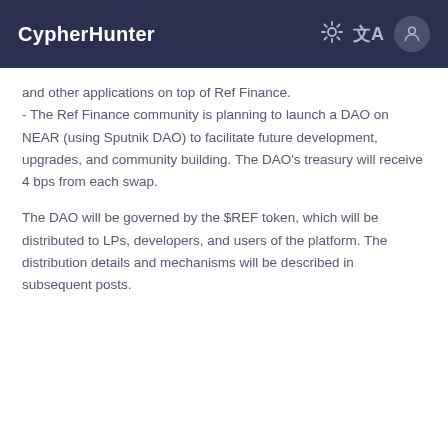CypherHunter
and other applications on top of Ref Finance.
- The Ref Finance community is planning to launch a DAO on NEAR (using Sputnik DAO) to facilitate future development, upgrades, and community building. The DAO's treasury will receive 4 bps from each swap.

The DAO will be governed by the $REF token, which will be distributed to LPs, developers, and users of the platform. The distribution details and mechanisms will be described in subsequent posts.